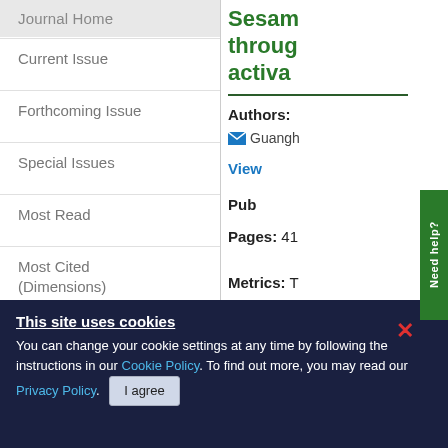Journal Home
Current Issue
Forthcoming Issue
Special Issues
Most Read
Most Cited (Dimensions)
Most Cited (CrossRef)
Social Media
Archive
Sesam... through... activa...
Authors:
Guangh...
View...
Pub...
Pages: 41...
Metrics: T...
This site uses cookies
You can change your cookie settings at any time by following the instructions in our Cookie Policy. To find out more, you may read our Privacy Policy.